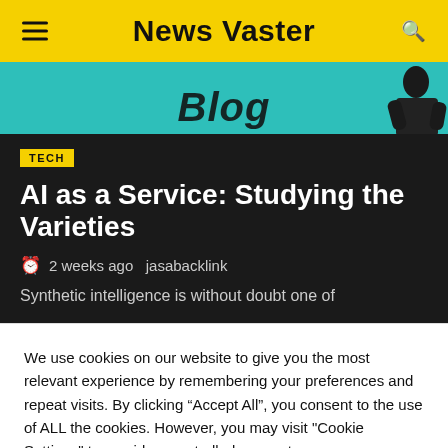News Vaster
[Figure (screenshot): Blog banner with teal background showing 'Blog' text and a dark silhouette figure on the right]
TECH
AI as a Service: Studying the Varieties
2 weeks ago  jasabacklink
Synthetic intelligence is without doubt one of
We use cookies on our website to give you the most relevant experience by remembering your preferences and repeat visits. By clicking “Accept All”, you consent to the use of ALL the cookies. However, you may visit "Cookie Settings" to provide a controlled consent.
Cookie Settings
Accept All